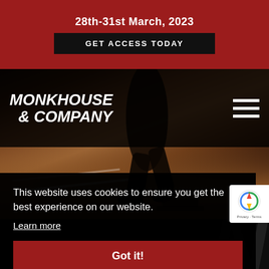28th-31st March, 2023
GET ACCESS TODAY
[Figure (screenshot): Monkhouse & Company website header with logo and hamburger menu over a dark athletic track hero image showing a sprinter in starting position]
This website uses cookies to ensure you get the best experience on our website.
Learn more
Got it!
PUT NEWSLETTER | #89